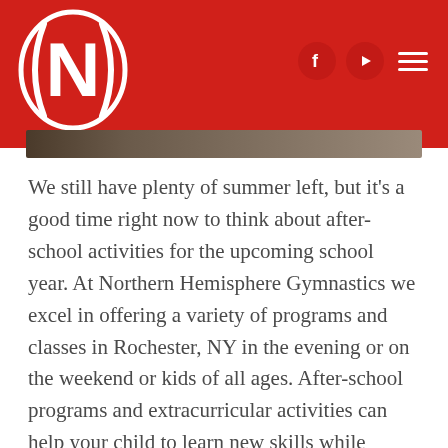[Figure (logo): Northern Hemisphere Gymnastics logo: white stylized N letter inside a circular emblem on red background]
[Figure (photo): Partial photo strip showing children in gymnastics attire]
We still have plenty of summer left, but it's a good time right now to think about after-school activities for the upcoming school year. At Northern Hemisphere Gymnastics we excel in offering a variety of programs and classes in Rochester, NY in the evening or on the weekend or kids of all ages. After-school programs and extracurricular activities can help your child to learn new skills while having fun in the process. Here are the four reasons why after-school programs are good for kids.